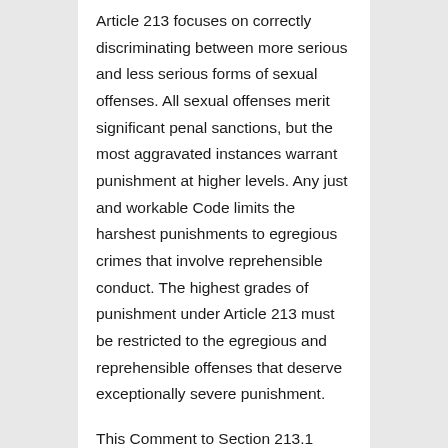Article 213 focuses on correctly discriminating between more serious and less serious forms of sexual offenses. All sexual offenses merit significant penal sanctions, but the most aggravated instances warrant punishment at higher levels. Any just and workable Code limits the harshest punishments to egregious crimes that involve reprehensible conduct. The highest grades of punishment under Article 213 must be restricted to the egregious and reprehensible offenses that deserve exceptionally severe punishment.
This Comment to Section 213.1 addresses: (1) the scope of 1 the core offense of inflicting or threatening to inflict bodily injury, or using physical force or restraint; and (2) the aggravating...